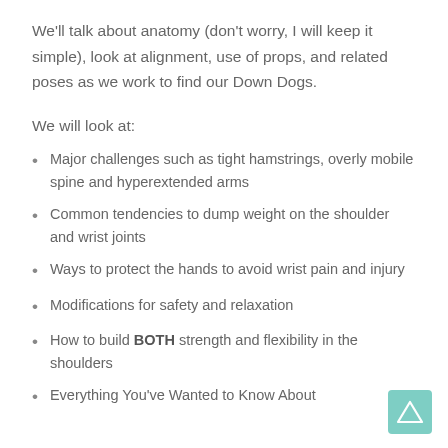We'll talk about anatomy (don't worry, I will keep it simple), look at alignment, use of props, and related poses as we work to find our Down Dogs.
We will look at:
Major challenges such as tight hamstrings, overly mobile spine and hyperextended arms
Common tendencies to dump weight on the shoulder and wrist joints
Ways to protect the hands to avoid wrist pain and injury
Modifications for safety and relaxation
How to build BOTH strength and flexibility in the shoulders
Everything You've Wanted to Know About
[Figure (illustration): Teal/mint colored square button with a triangle (delta) symbol outline in white]